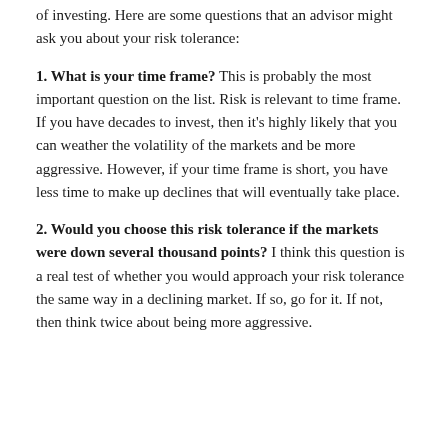of investing. Here are some questions that an advisor might ask you about your risk tolerance:
1. What is your time frame? This is probably the most important question on the list. Risk is relevant to time frame. If you have decades to invest, then it's highly likely that you can weather the volatility of the markets and be more aggressive. However, if your time frame is short, you have less time to make up declines that will eventually take place.
2. Would you choose this risk tolerance if the markets were down several thousand points? I think this question is a real test of whether you would approach your risk tolerance the same way in a declining market. If so, go for it. If not, then think twice about being more aggressive.